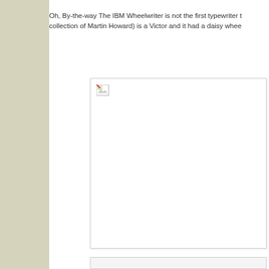Oh, By-the-way The IBM Wheelwriter is not the first typewriter to use a daisy wheel. In the collection of Martin Howard) is a Victor and it had a daisy whee...
[Figure (photo): A photograph placeholder — image failed to load, showing a broken image icon in the top-left corner of a white bordered rectangle.]